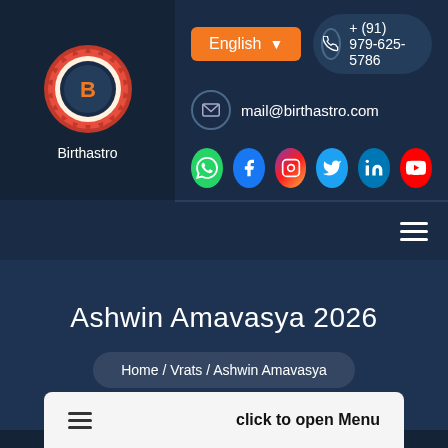[Figure (logo): Birthastro circular logo with sun-rays border and text 'Birthastro' below]
English ▾
+ (91) 979-625-5786
mail@birthastro.com
[Figure (other): Social media icons row: WhatsApp, Facebook, Instagram, Twitter, LinkedIn, YouTube]
[Figure (other): Hamburger menu icon (three horizontal lines)]
Ashwin Amavasya 2026
Home / Vrats / Ashwin Amavasya
click to open Menu